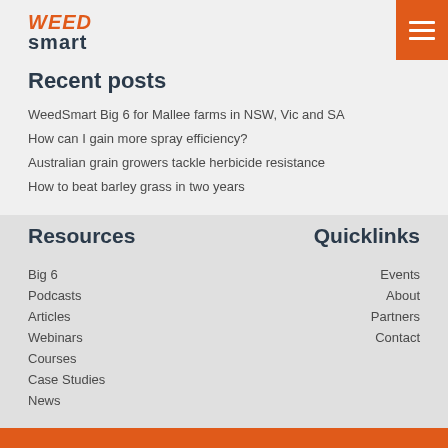WEED smart
Recent posts
WeedSmart Big 6 for Mallee farms in NSW, Vic and SA
How can I gain more spray efficiency?
Australian grain growers tackle herbicide resistance
How to beat barley grass in two years
Resources
Big 6
Podcasts
Articles
Webinars
Courses
Case Studies
News
Quicklinks
Events
About
Partners
Contact